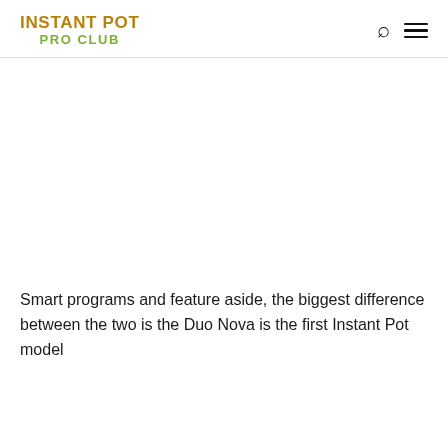INSTANT POT PRO CLUB
Smart programs and feature aside, the biggest difference between the two is the Duo Nova is the first Instant Pot model